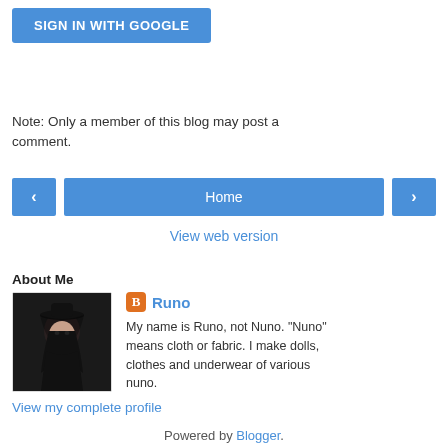[Figure (screenshot): Blue 'SIGN IN WITH GOOGLE' button]
Note: Only a member of this blog may post a comment.
[Figure (screenshot): Navigation bar with left arrow button, Home button, and right arrow button]
View web version
About Me
[Figure (photo): Profile photo of Runo, a doll wearing a black hat and outfit with dark hair]
Runo
My name is Runo, not Nuno. "Nuno" means cloth or fabric. I make dolls, clothes and underwear of various nuno.
View my complete profile
Powered by Blogger.